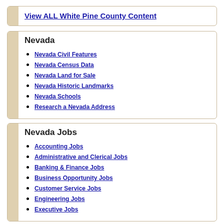View ALL White Pine County Content
Nevada
Nevada Civil Features
Nevada Census Data
Nevada Land for Sale
Nevada Historic Landmarks
Nevada Schools
Research a Nevada Address
Nevada Jobs
Accounting Jobs
Administrative and Clerical Jobs
Banking & Finance Jobs
Business Opportunity Jobs
Customer Service Jobs
Engineering Jobs
Executive Jobs